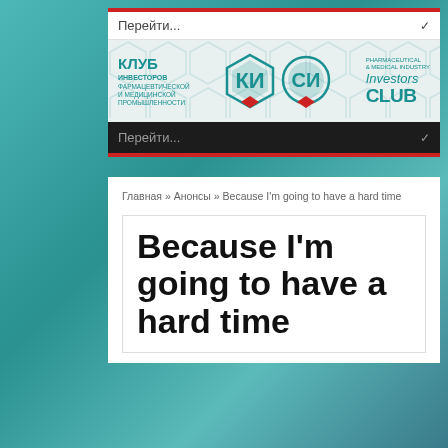[Figure (screenshot): Website screenshot of Pharmaceutical & Medical Industry Investors Club (Клуб Инвесторов Фармацевтической и Медицинской Промышленности). Shows two navigation dropdowns labeled 'Перейти...', a teal/white logo banner with Russian and English text and KI/CI hexagon icons, a breadcrumb navigation, and an article title 'Because I'm going to have a hard time'.]
Главная » Анонсы » Because I'm going to have a hard time
Because I'm going to have a hard time